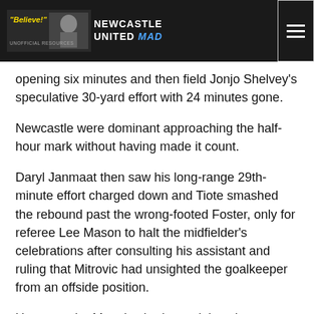"Believe!" NEWCASTLE UNITED MAD
opening six minutes and then field Jonjo Shelvey's speculative 30-yard effort with 24 minutes gone.
Newcastle were dominant approaching the half-hour mark without having made it count.
Daryl Janmaat then saw his long-range 29th-minute effort charged down and Tiote smashed the rebound past the wrong-footed Foster, only for referee Lee Mason to halt the midfielder's celebrations after consulting his assistant and ruling that Mitrovic had unsighted the goalkeeper from an offside position.
However, the Magpies had to wait just three minutes longer to get their noses in front when Shelvey split the visitors' defence with a perfectly-weighted pass and Mitrovic calmly beat the advancing Foster.